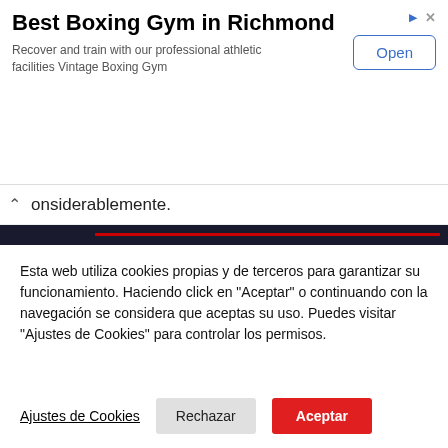[Figure (screenshot): Advertisement banner for Best Boxing Gym in Richmond with an Open button]
Best Boxing Gym in Richmond
Recover and train with our professional athletic facilities Vintage Boxing Gym
onsiderablemente.
[Figure (photo): BOXXER Sky Sports Boxing promotional image showing multiple boxers including Cheema and Gibbs]
Esta web utiliza cookies propias y de terceros para garantizar su funcionamiento. Haciendo click en "Aceptar" o continuando con la navegación se considera que aceptas su uso. Puedes visitar "Ajustes de Cookies" para controlar los permisos.